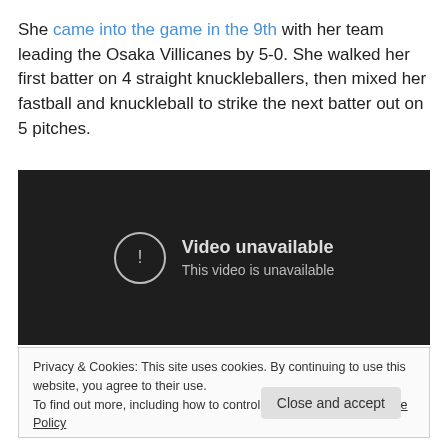She came into the game in the 9th with her team leading the Osaka Villicanes by 5-0. She walked her first batter on 4 straight knuckleballers, then mixed her fastball and knuckleball to strike the next batter out on 5 pitches.
[Figure (other): Embedded video player showing 'Video unavailable - This video is unavailable' message on a dark background.]
Privacy & Cookies: This site uses cookies. By continuing to use this website, you agree to their use. To find out more, including how to control cookies, see here: Cookie Policy